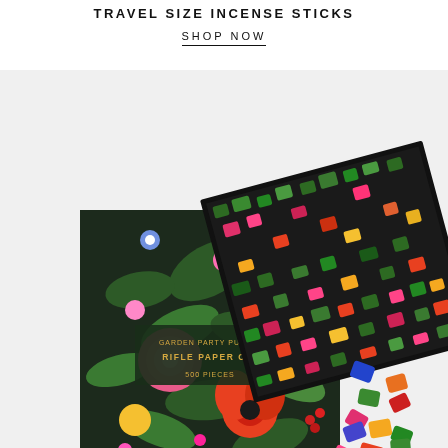TRAVEL SIZE INCENSE STICKS
SHOP NOW
[Figure (photo): A Rifle Paper Co. Garden Party 500-piece jigsaw puzzle box with a dark floral pattern (colorful flowers and leaves on dark background), shown open with puzzle pieces scattered inside and around the box on a light grey background.]